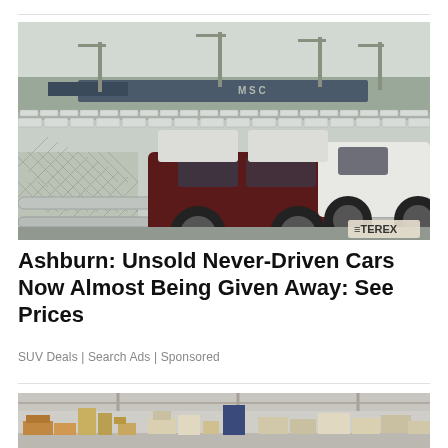[Figure (photo): Aerial view of a large parking lot at a port filled with hundreds of white and dark SUVs (Toyota FJ Cruisers), with shipping cranes and a cargo ship visible in the background, and a chain-link fence with metal bars in the foreground. A TEREX-branded vehicle is visible at the lower right.]
Ashburn: Unsold Never-Driven Cars Now Almost Being Given Away: See Prices
SUV Deals | Search Ads | Sponsored
[Figure (photo): Interior of a warehouse filled with stacked cardboard boxes and wooden furniture pieces in various states of assembly or storage.]